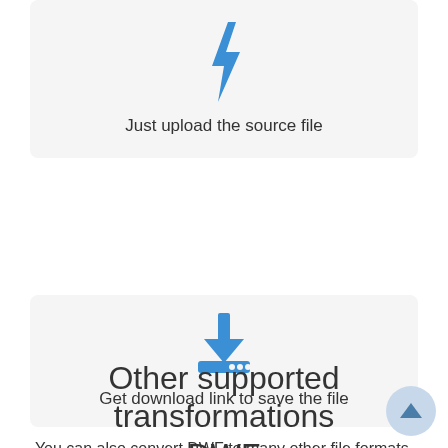[Figure (illustration): Blue lightning bolt icon centered in a light gray card]
Just upload the source file
[Figure (illustration): Blue download arrow with tray icon centered in a light gray card]
Get download link to save the file
Other supported transformations DWF
You can also convert DWF to many other file formats. Please